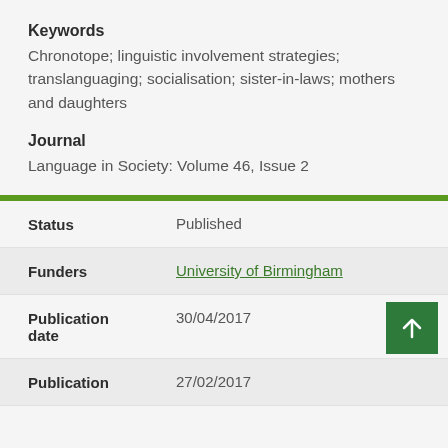Keywords
Chronotope; linguistic involvement strategies; translanguaging; socialisation; sister-in-laws; mothers and daughters
Journal
Language in Society: Volume 46, Issue 2
| Field | Value |
| --- | --- |
| Status | Published |
| Funders | University of Birmingham |
| Publication date | 30/04/2017 |
| Publication | 27/02/2017 |